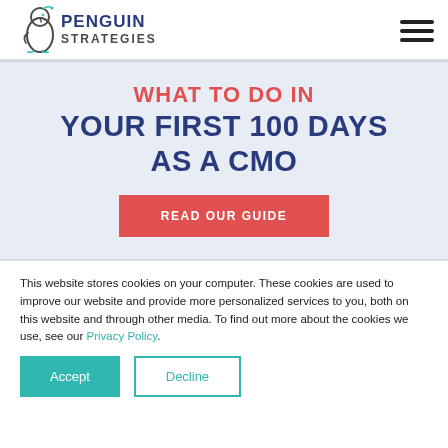[Figure (logo): Penguin Strategies logo with penguin icon and text]
WHAT TO DO IN YOUR FIRST 100 DAYS AS A CMO
READ OUR GUIDE
This website stores cookies on your computer. These cookies are used to improve our website and provide more personalized services to you, both on this website and through other media. To find out more about the cookies we use, see our Privacy Policy.
Accept
Decline